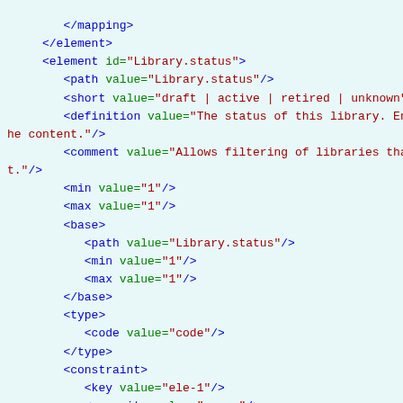[Figure (screenshot): XML/FHIR StructureDefinition code snippet showing element definitions for Library.status including path, short, definition, comment, min, max, base, type, and constraint elements with their attributes and values.]